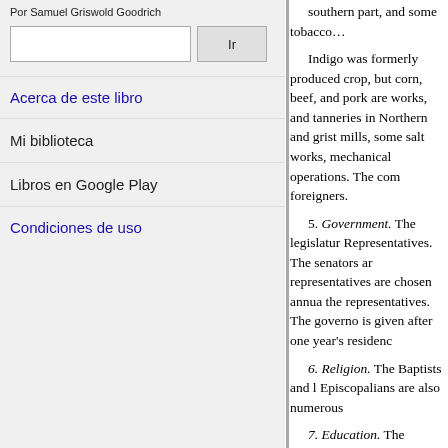Por Samuel Griswold Goodrich
Acerca de este libro
Mi biblioteca
Libros en Google Play
Condiciones de uso
southern part, and some tobacco... Indigo was formerly produced crop, but corn, beef, and pork are works, and tanneries in Northern and grist mills, some salt works, mechanical operations. The com foreigners.

5. Government. The legislatur Representatives. The senators ar representatives are chosen annua the representatives. The governo is given after one year's residenc

6. Religion. The Baptists and l Episcopalians are also numerous

7. Education. The University o 100 students. La Grange Colleg near Mobile, are useful institutio

3. History. The southern portio Georgia ; the latter was ceded by Mississippi Territory. It was mad Union as an independent State. I